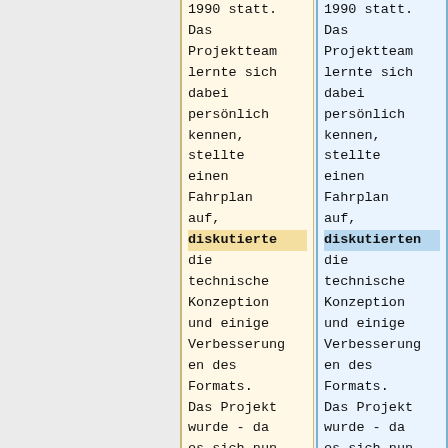| (left column) | (right column) |
| --- | --- |
| 1990 statt. | 1990 statt. |
| Das Projektteam lernte sich dabei persönlich kennen, stellte einen Fahrplan auf, | Das Projektteam lernte sich dabei persönlich kennen, stellte einen Fahrplan auf, |
| diskutierte | diskutierten |
| die technische Konzeption und einige Verbesserungen des Formats. | die technische Konzeption und einige Verbesserungen des Formats. |
| Das Projekt wurde - da es sich nun | Das Projekt wurde - da es sich nun |